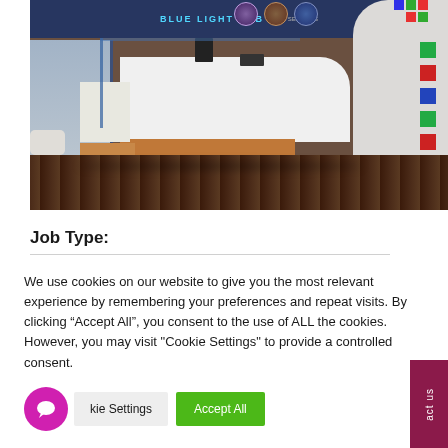[Figure (photo): Interior of Blue Light Hub reception area. A modern white reception desk with wood paneling is centered. On the right is a curved white column with colored square blocks (green, red, blue). The top has a dark banner reading 'BLUE LIGHT HUB'. Left side shows windows with outdoor view. Carpeted floor in dark brown/maroon pattern.]
Job Type:
We use cookies on our website to give you the most relevant experience by remembering your preferences and repeat visits. By clicking “Accept All”, you consent to the use of ALL the cookies. However, you may visit "Cookie Settings" to provide a controlled consent.